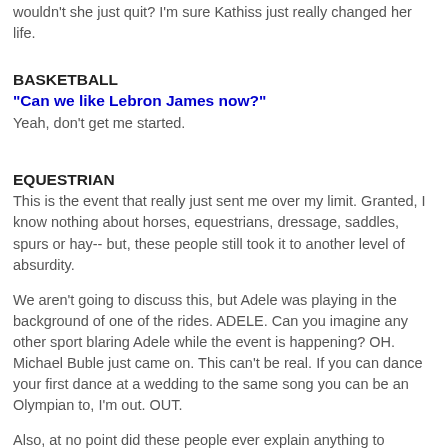wouldn't she just quit? I'm sure Kathiss just really changed her life.
BASKETBALL
"Can we like Lebron James now?"
Yeah, don't get me started.
EQUESTRIAN
This is the event that really just sent me over my limit. Granted, I know nothing about horses, equestrians, dressage, saddles, spurs or hay-- but, these people still took it to another level of absurdity.
We aren't going to discuss this, but Adele was playing in the background of one of the rides. ADELE. Can you imagine any other sport blaring Adele while the event is happening? OH. Michael Buble just came on. This can't be real. If you can dance your first dance at a wedding to the same song you can be an Olympian to, I'm out. OUT.
Also, at no point did these people ever explain anything to